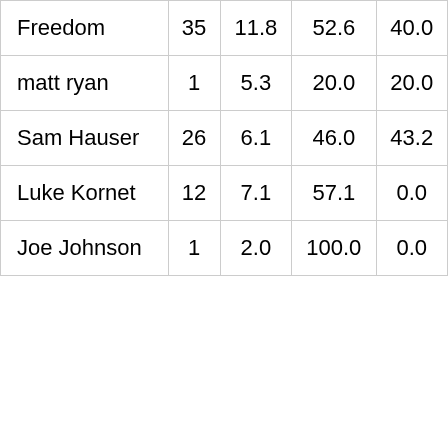| Freedom | 35 | 11.8 | 52.6 | 40.0 |
| matt ryan | 1 | 5.3 | 20.0 | 20.0 |
| Sam Hauser | 26 | 6.1 | 46.0 | 43.2 |
| Luke Kornet | 12 | 7.1 | 57.1 | 0.0 |
| Joe Johnson | 1 | 2.0 | 100.0 | 0.0 |
Manage Cookie Consent
To provide the best experiences, we use technologies like cookies to store and/or access device information. Consenting to these technologies will allow us to process data such as browsing behavior or unique IDs on this site. Not consenting or withdrawing consent, may adversely affect certain features and functions.
Accept